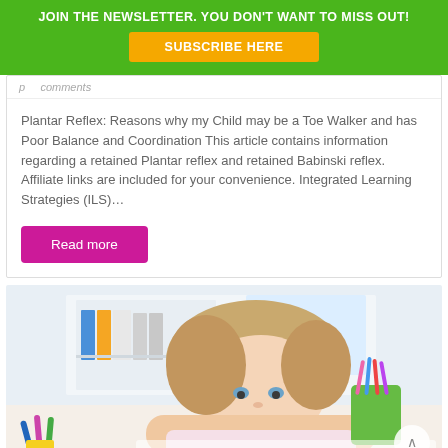JOIN THE NEWSLETTER. YOU DON'T WANT TO MISS OUT!
SUBSCRIBE HERE
Plantar Reflex: Reasons why my Child may be a Toe Walker and has Poor Balance and Coordination This article contains information regarding a retained Plantar reflex and retained Babinski reflex. Affiliate links are included for your convenience. Integrated Learning Strategies (ILS)…
Read more
[Figure (photo): Young blonde girl resting her head on a desk in a bright classroom/study room setting, looking tired or bored, with colorful pencils and school supplies visible in the foreground and background.]